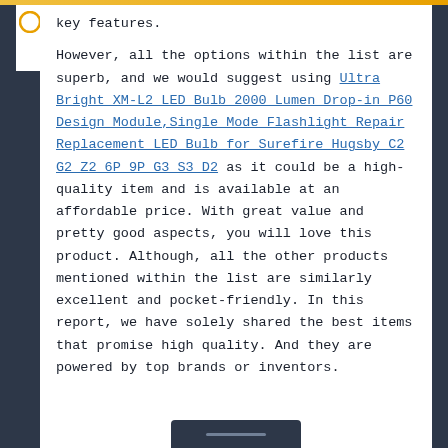key features.
However, all the options within the list are superb, and we would suggest using Ultra Bright XM-L2 LED Bulb 2000 Lumen Drop-in P60 Design Module,Single Mode Flashlight Repair Replacement LED Bulb for Surefire Hugsby C2 G2 Z2 6P 9P G3 S3 D2 as it could be a high-quality item and is available at an affordable price. With great value and pretty good aspects, you will love this product. Although, all the other products mentioned within the list are similarly excellent and pocket-friendly. In this report, we have solely shared the best items that promise high quality. And they are powered by top brands or inventors.